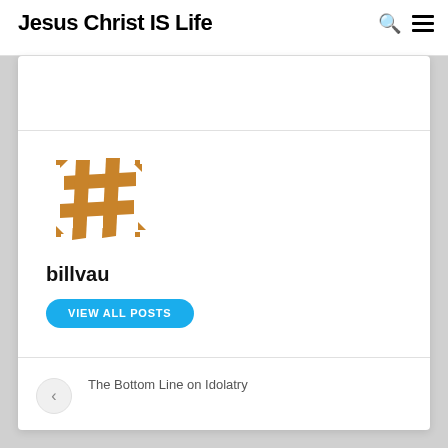Jesus Christ IS Life
[Figure (logo): Brown pixelated hashtag-style avatar icon for user billvau]
billvau
VIEW ALL POSTS
The Bottom Line on Idolatry